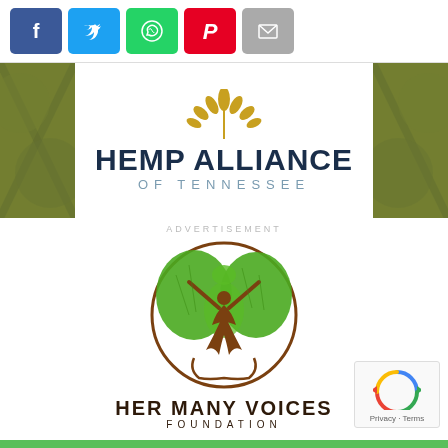[Figure (infographic): Social share buttons row: Facebook (blue), Twitter (cyan), WhatsApp (green), Pinterest (red), Email (gray)]
[Figure (logo): Hemp Alliance of Tennessee logo with golden hemp leaf/flower above bold dark blue text HEMP ALLIANCE and lighter blue smaller text OF TENNESSEE, flanked by green hemp plant texture photo panels]
ADVERTISEMENT
[Figure (logo): Her Many Voices Foundation logo: circular brown ring with a female figure whose arms branch into green leafy tree forming a world map shape, with brown roots at base. Text below: HER MANY VOICES FOUNDATION]
[Figure (other): reCAPTCHA widget bottom right: spinning circle icon, Privacy · Terms text]